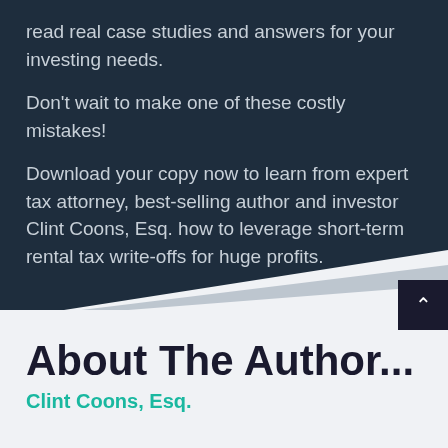read real case studies and answers for your investing needs.
Don't wait to make one of these costly mistakes!
Download your copy now to learn from expert tax attorney, best-selling author and investor Clint Coons, Esq. how to leverage short-term rental tax write-offs for huge profits.
About The Author...
Clint Coons, Esq.